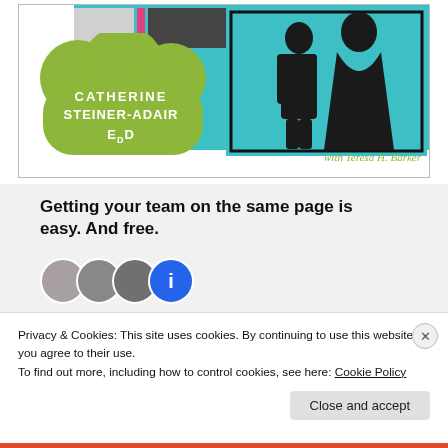[Figure (illustration): Book cover for 'The Big Disconnect' by Catherine Steiner-Adair EdD with Teresa H. Barker. Features a teal background, green cloud shape with author name in white, silhouettes of people, and photo strips.]
Getting your team on the same page is easy. And free.
Privacy & Cookies: This site uses cookies. By continuing to use this website, you agree to their use.
To find out more, including how to control cookies, see here: Cookie Policy
Close and accept